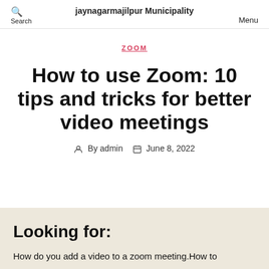Search | jaynagarmajilpur Municipality | Menu
ZOOM
How to use Zoom: 10 tips and tricks for better video meetings
By admin  June 8, 2022
Looking for:
How do you add a video to a zoom meeting.How to